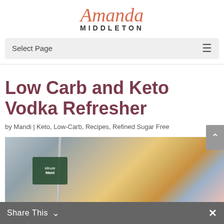Amanda Middleton
Select Page
Low Carb and Keto Vodka Refresher
by Mandi | Keto, Low-Carb, Recipes, Refined Sugar Free
[Figure (photo): Photo of ingredients for a keto vodka refresher including Minute Maid and Tito's vodka bottles, a lemon or citrus fruit, strawberries, and a metal straw in a glass]
Share This